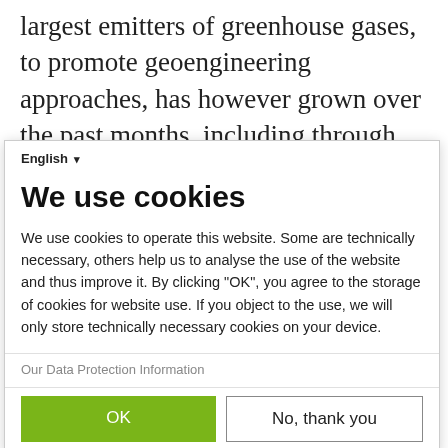largest emitters of greenhouse gases, to promote geoengineering approaches, has however grown over the past months, including through massive investments in fossil fuel infrastructure under the guise of carbon capture and removal and attempts at
English ▾
We use cookies
We use cookies to operate this website. Some are technically necessary, others help us to analyse the use of the website and thus improve it. By clicking "OK", you agree to the storage of cookies for website use. If you object to the use, we will only store technically necessary cookies on your device.
Our Data Protection Information
OK
No, thank you
Powered by PIWIK PRO